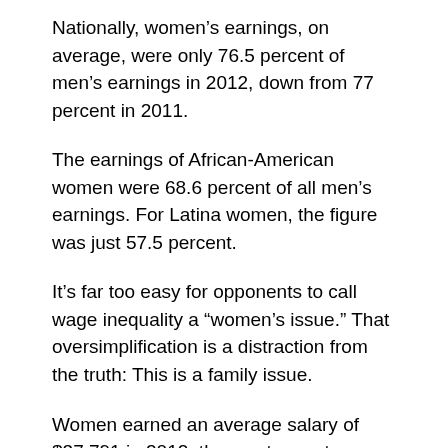Nationally, women's earnings, on average, were only 76.5 percent of men's earnings in 2012, down from 77 percent in 2011.
The earnings of African-American women were 68.6 percent of all men's earnings. For Latina women, the figure was just 57.5 percent.
It's far too easy for opponents to call wage inequality a “women's issue.” That oversimplification is a distraction from the truth: This is a family issue.
Women earned an average salary of $37,791 in 2012, the most recent year for which figures are available, compared to $49,398 for men — a difference of $11,607. As long as income inequality is allowed to persist, we are cheating families.
What could your family do with $11,607? Could you get the repairs that might let you hang onto your minivan for a few